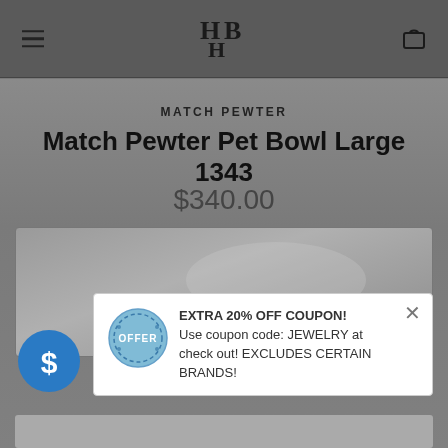HB (logo) — navigation header with menu icon and bag icon
MATCH PEWTER
Match Pewter Pet Bowl Large 1343
$340.00
[Figure (photo): Product image area — grey placeholder background]
EXTRA 20% OFF COUPON! Use coupon code: JEWELRY at check out! EXCLUDES CERTAIN BRANDS!